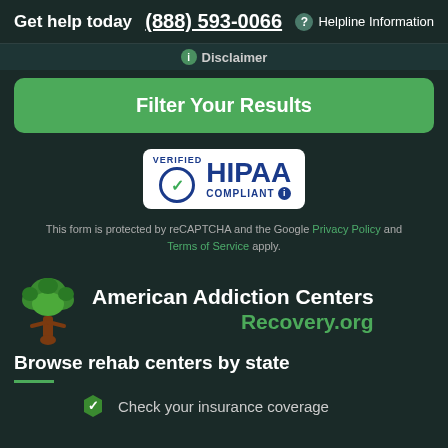Get help today  (888) 593-0066  ? Helpline Information
Disclaimer
Filter Your Results
[Figure (logo): VERIFIED HIPAA COMPLIANT badge with checkmark and info icon]
This form is protected by reCAPTCHA and the Google Privacy Policy and Terms of Service apply.
[Figure (logo): American Addiction Centers tree logo with person figure in brown/green]
American Addiction Centers Recovery.org
Browse rehab centers by state
Check your insurance coverage